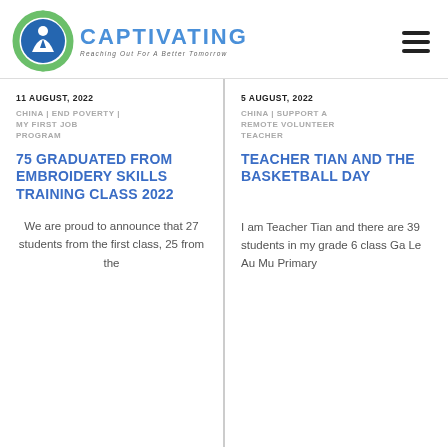[Figure (logo): Captivating organization logo with circular green and blue design showing a person figure, with text 'CAPTIVATING' and tagline 'Reaching Out For A Better Tomorrow']
11 AUGUST, 2022
CHINA | END POVERTY | MY FIRST JOB PROGRAM
75 GRADUATED FROM EMBROIDERY SKILLS TRAINING CLASS 2022
We are proud to announce that 27 students from the first class, 25 from the
5 AUGUST, 2022
CHINA | SUPPORT A REMOTE VOLUNTEER TEACHER
TEACHER TIAN AND THE BASKETBALL DAY
I am Teacher Tian and there are 39 students in my grade 6 class Ga Le Au Mu Primary